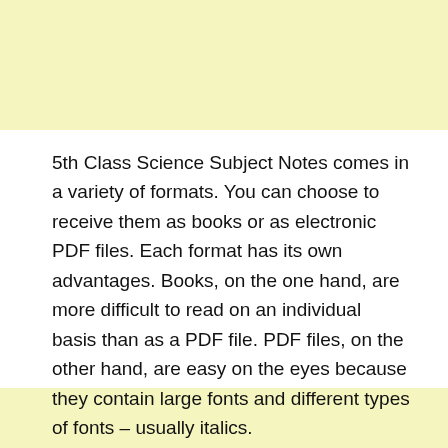5th Class Science Subject Notes comes in a variety of formats. You can choose to receive them as books or as electronic PDF files. Each format has its own advantages. Books, on the one hand, are more difficult to read on an individual basis than as a PDF file. PDF files, on the other hand, are easy on the eyes because they contain large fonts and different types of fonts – usually italics.